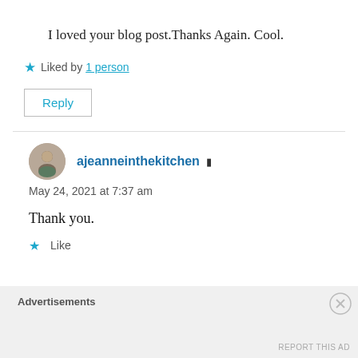I loved your blog post.Thanks Again. Cool.
★ Liked by 1 person
Reply
ajeanneinthekitchen ▲
May 24, 2021 at 7:37 am
Thank you.
★ Like
Advertisements